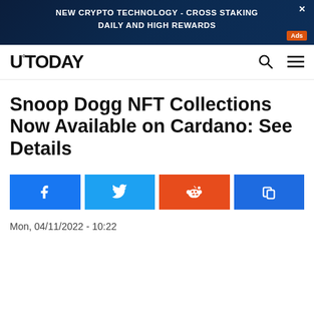[Figure (screenshot): Dark blue advertisement banner with crypto promotion text and orange Ads label]
U°TODAY
Snoop Dogg NFT Collections Now Available on Cardano: See Details
[Figure (other): Social share buttons: Facebook, Twitter, Reddit, Copy]
Mon, 04/11/2022 - 10:22